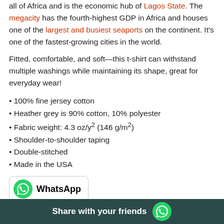all of Africa and is the economic hub of Lagos State. The megacity has the fourth-highest GDP in Africa and houses one of the largest and busiest seaports on the continent. It's one of the fastest-growing cities in the world.
Fitted, comfortable, and soft—this t-shirt can withstand multiple washings while maintaining its shape, great for everyday wear!
100% fine jersey cotton
Heather grey is 90% cotton, 10% polyester
Fabric weight: 4.3 oz/y² (146 g/m²)
Shoulder-to-shoulder taping
Double-stitched
Made in the USA
[Figure (screenshot): WhatsApp share button with green WhatsApp logo and bold text 'WhatsApp']
Size guide
Share with your friends [WhatsApp logo]